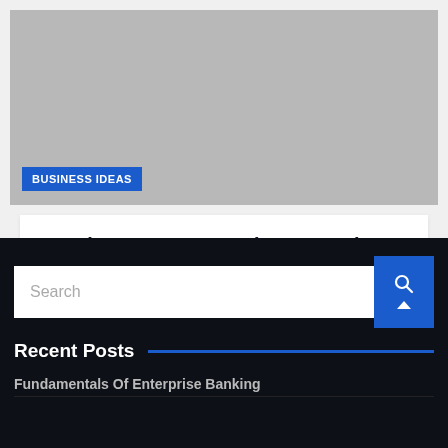[Figure (photo): Gray placeholder image with a blue 'BUSINESS IDEAS' badge in the lower-left corner]
American Express Business Services
3 months ago   jenny
Search
Recent Posts
Fundamentals Of Enterprise Banking